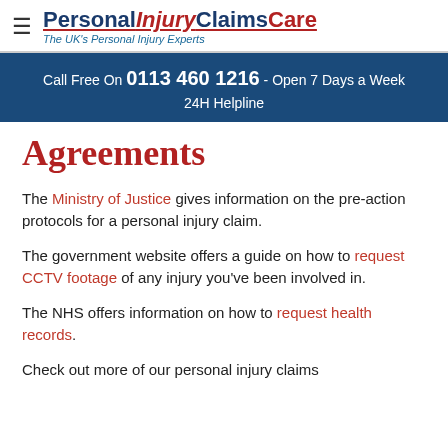PersonalInjuryClaimsCare — The UK's Personal Injury Experts
Call Free On 0113 460 1216 - Open 7 Days a Week 24H Helpline
Agreements
The Ministry of Justice gives information on the pre-action protocols for a personal injury claim.
The government website offers a guide on how to request CCTV footage of any injury you've been involved in.
The NHS offers information on how to request health records.
Check out more of our personal injury claims